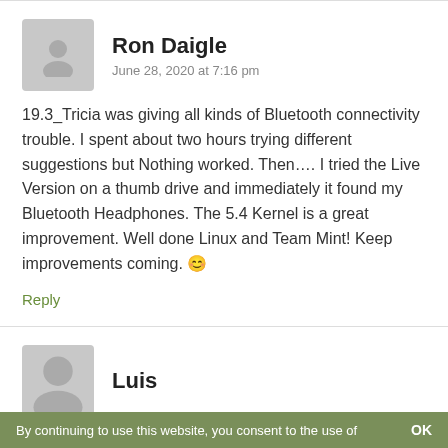Ron Daigle
June 28, 2020 at 7:16 pm
19.3_Tricia was giving all kinds of Bluetooth connectivity trouble. I spent about two hours trying different suggestions but Nothing worked. Then…. I tried the Live Version on a thumb drive and immediately it found my Bluetooth Headphones. The 5.4 Kernel is a great improvement. Well done Linux and Team Mint! Keep improvements coming. 😊
Reply
Luis
By continuing to use this website, you consent to the use of
OK